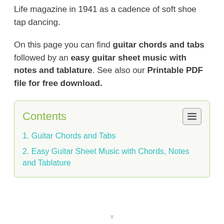Life magazine in 1941 as a cadence of soft shoe tap dancing.
On this page you can find guitar chords and tabs followed by an easy guitar sheet music with notes and tablature. See also our Printable PDF file for free download.
Contents
1. Guitar Chords and Tabs
2. Easy Guitar Sheet Music with Chords, Notes and Tablature